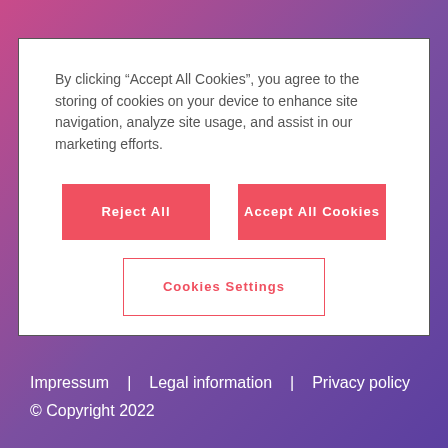By clicking “Accept All Cookies”, you agree to the storing of cookies on your device to enhance site navigation, analyze site usage, and assist in our marketing efforts.
Reject All
Accept All Cookies
Cookies Settings
Impressum  |  Legal information  |  Privacy policy
© Copyright 2022